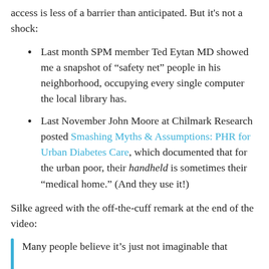access is less of a barrier than anticipated. But it's not a shock:
Last month SPM member Ted Eytan MD showed me a snapshot of “safety net” people in his neighborhood, occupying every single computer the local library has.
Last November John Moore at Chilmark Research posted Smashing Myths & Assumptions: PHR for Urban Diabetes Care, which documented that for the urban poor, their handheld is sometimes their “medical home.” (And they use it!)
Silke agreed with the off-the-cuff remark at the end of the video:
Many people believe it’s just not imaginable that …